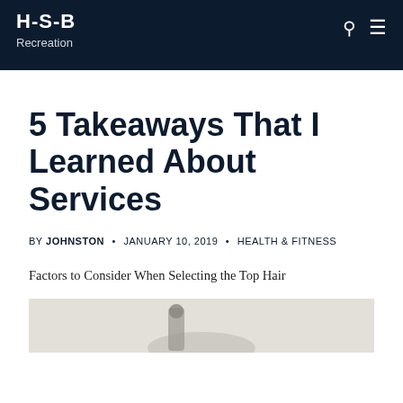H-S-B Recreation
5 Takeaways That I Learned About Services
BY JOHNSTON • JANUARY 10, 2019 • HEALTH & FITNESS
Factors to Consider When Selecting the Top Hair
[Figure (photo): Photo of hair styling tools on a white fur surface]